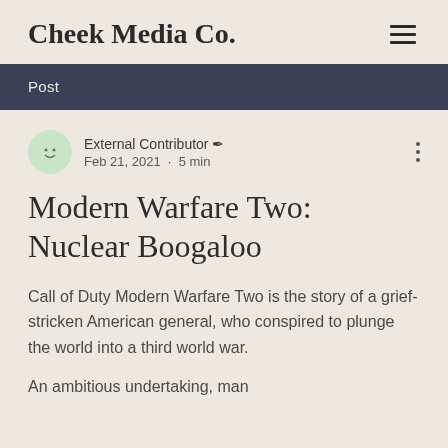Cheek Media Co.
Post
External Contributor  Feb 21, 2021 · 5 min
Modern Warfare Two: Nuclear Boogaloo
Call of Duty Modern Warfare Two is the story of a grief-stricken American general, who conspired to plunge the world into a third world war.
An ambitious undertaking, man